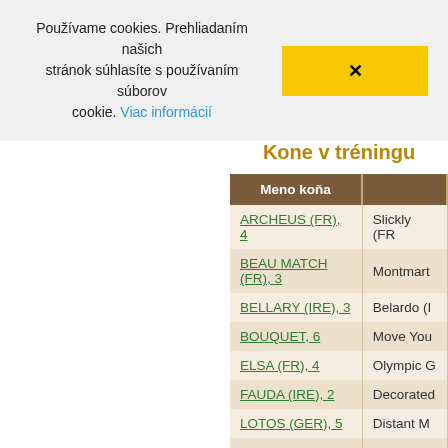Používame cookies. Prehliadaním našich stránok súhlasíte s používaním súborov cookie. Viac informácií
Kone v tréningu
| Meno koňa |  |
| --- | --- |
| ARCHEUS (FR), 4 | Slickly (FR |
| BEAU MATCH (FR), 3 | Montmart |
| BELLARY (IRE), 3 | Belardo (I |
| BOUQUET, 6 | Move You |
| ELSA (FR), 4 | Olympic G |
| FAUDA (IRE), 2 | Decorated |
| LOTOS (GER), 5 | Distant M |
| MANATAN (FR), 2 | Manatee ( |
| NEUTOP, 2 | Eagle Top |
| PALMERA (GER), 6 | Jukebox J |
| PAOLO CINELLA (FR), 2 | Guignol (G |
| PASAREI (GER), 3 | Hunter's L |
| REKLAMA (GER), 4 | Jukebox J |